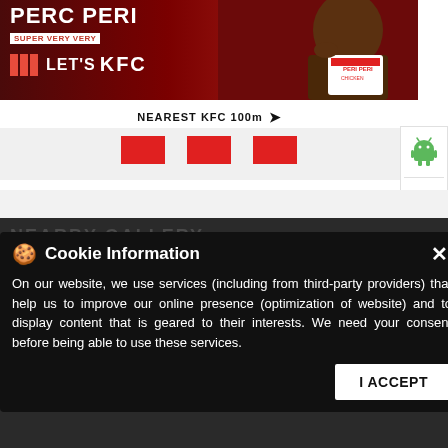[Figure (photo): KFC advertisement banner showing 'PERI PERI SUPER VERY VERY' text, 'LET'S KFC' with red bars, and a person eating chicken from a KFC bucket on dark red background]
NEAREST KFC 100m →
[Figure (other): Three red rectangles as carousel navigation indicators, on a light gray background]
[Figure (other): Side panel with Android (green robot) and Apple (apple logo) app download icons on white background]
NEARBY GALLERY
Narasimhan Road   Gallayapuram Street
DR Thomas Road   Hanumanthan Street
Binny Road
Cookie Information
On our website, we use services (including from third-party providers) that help us to improve our online presence (optimization of website) and to display content that is geared to their interests. We need your consent before being able to use these services.
I ACCEPT